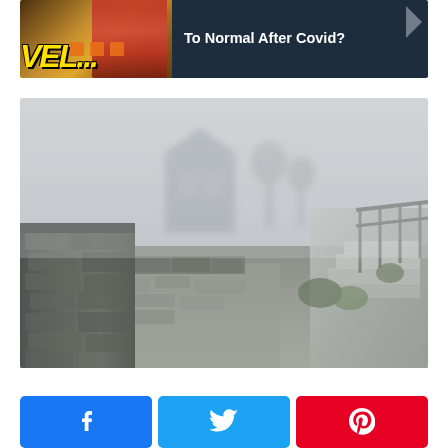[Figure (photo): Banner thumbnail image showing a travel-themed graphic with yellow 'VEL...' text overlay and a person with red hair, next to a dark blue panel reading 'To Normal After Covid?']
[Figure (photo): Photo of ancient stone ruins with low stone walls and a metal staircase/railing on the right, shrouded in heavy fog with a ghostly building silhouette visible in the mist]
[Figure (infographic): Social sharing button bar with Facebook (blue), Twitter (light blue), and Pinterest (red) buttons, each containing the respective platform icon]